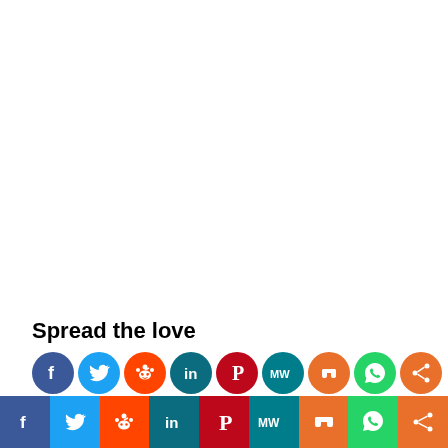Spread the love
[Figure (infographic): Row of social media share icons: Facebook (blue), Twitter (light blue), Reddit (orange-red), LinkedIn (dark teal), Pinterest (red), MeWe (teal), Mix (orange), WhatsApp (green), Share (orange)]
Are you interested in WACO Community
[Figure (infographic): Bottom bar of social media share buttons: Facebook (blue), Twitter (light blue), Reddit (orange), LinkedIn (dark teal), Pinterest (red), MeWe (teal), Mix (orange), WhatsApp (green), Share (orange)]